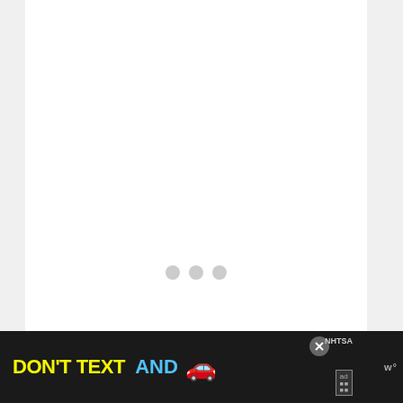[Figure (screenshot): Loading indicator: three gray dots centered in a white card area, suggesting content is loading]
[Figure (other): Floating blue heart (favorite) button and white share button on right side]
All your selected cells should now be
[Figure (other): Ad banner: DON'T TEXT AND (drive safe) NHTSA advertisement on dark background with car emoji, close button, ad badge, and WeatherBug logo]